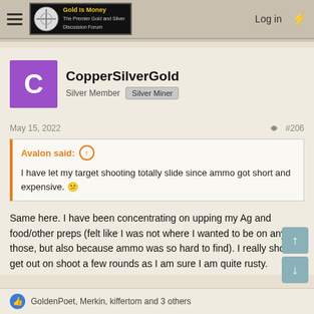Gold Is Money - The Premier Gold and Silver Discussion Forum
CopperSilverGold
Silver Member  Silver Miner
May 15, 2022  #206
Avalon said: ↑
I have let my target shooting totally slide since ammo got short and expensive. 😕
Same here. I have been concentrating on upping my Ag and food/other preps (felt like I was not where I wanted to be on any of those, but also because ammo was so hard to find). I really should get out on shoot a few rounds as I am sure I am quite rusty.
👍 GoldenPoet, Merkin, kiffertom and 3 others